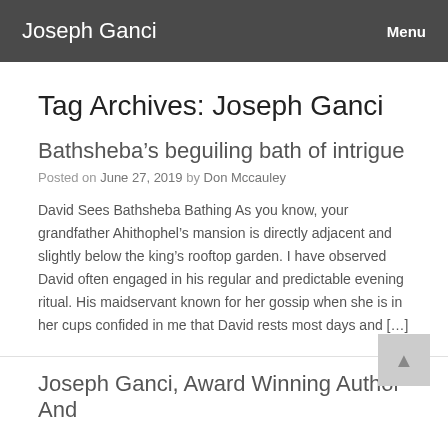Joseph Ganci   Menu
Tag Archives: Joseph Ganci
Bathsheba’s beguiling bath of intrigue
Posted on June 27, 2019 by Don Mccauley
David Sees Bathsheba Bathing As you know, your grandfather Ahithophel’s mansion is directly adjacent and slightly below the king’s rooftop garden. I have observed David often engaged in his regular and predictable evening ritual. His maidservant known for her gossip when she is in her cups confided in me that David rests most days and […]
Joseph Ganci, Award Winning Author And